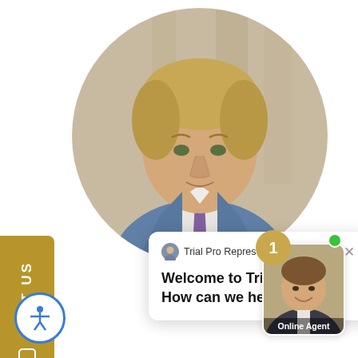[Figure (photo): Circular photo of a man in a blue suit with a purple tie, professional headshot, lawyer or attorney portrait against a neutral background]
[Figure (screenshot): Live chat widget showing 'Trial Pro Representative' with message 'Welcome to Trial Pro, P.A! How can we help you?']
[Figure (illustration): Gold 'TEXT US' button on the left side with phone icon]
[Figure (photo): Online Agent thumbnail showing a man smiling with a gold tie, with green online status dot and notification badge showing 1]
[Figure (illustration): Accessibility icon button (person with arms outstretched in circle) at bottom left]